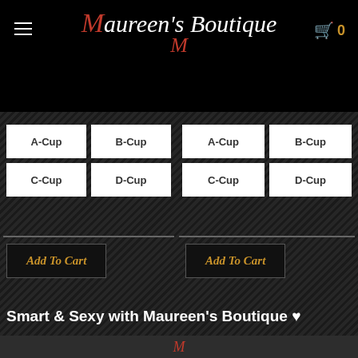Maureen's Boutique
A-Cup, B-Cup, C-Cup, D-Cup (left column)
A-Cup, B-Cup, C-Cup, D-Cup (right column)
Add To Cart
Add To Cart
Smart & Sexy with Maureen's Boutique ♥
Maureen's Boutique logo